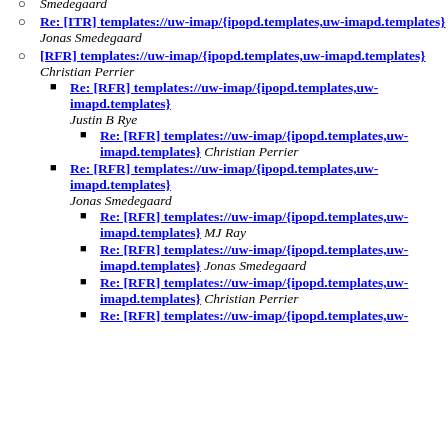Smedegaard
Re: [ITR] templates://uw-imap/{ipopd.templates,uw-imapd.templates} Jonas Smedegaard
[RFR] templates://uw-imap/{ipopd.templates,uw-imapd.templates} Christian Perrier
Re: [RFR] templates://uw-imap/{ipopd.templates,uw-imapd.templates} Justin B Rye
Re: [RFR] templates://uw-imap/{ipopd.templates,uw-imapd.templates} Christian Perrier
Re: [RFR] templates://uw-imap/{ipopd.templates,uw-imapd.templates} Jonas Smedegaard
Re: [RFR] templates://uw-imap/{ipopd.templates,uw-imapd.templates} MJ Ray
Re: [RFR] templates://uw-imap/{ipopd.templates,uw-imapd.templates} Jonas Smedegaard
Re: [RFR] templates://uw-imap/{ipopd.templates,uw-imapd.templates} Christian Perrier
Re: [RFR] templates://uw-imap/{ipopd.templates,uw-imapd.templates}